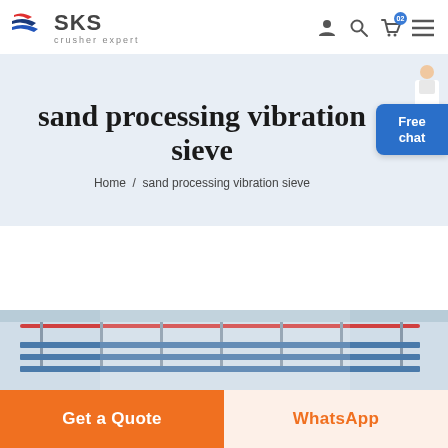SKS crusher expert
sand processing vibration sieve
Home / sand processing vibration sieve
[Figure (photo): Interior of an industrial facility showing a sand processing vibration sieve machine installed in a large warehouse with overhead crane structure]
Get a Quote
WhatsApp